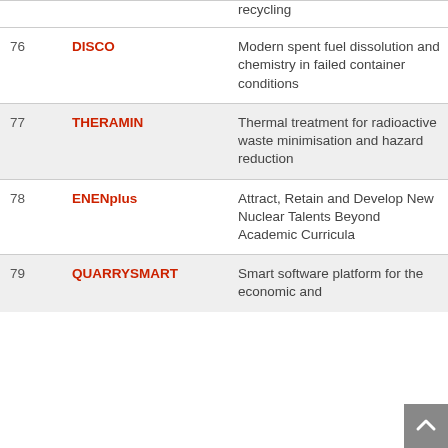| # | Project | Description |
| --- | --- | --- |
|  |  | recycling |
| 76 | DISCO | Modern spent fuel dissolution and chemistry in failed container conditions |
| 77 | THERAMIN | Thermal treatment for radioactive waste minimisation and hazard reduction |
| 78 | ENENplus | Attract, Retain and Develop New Nuclear Talents Beyond Academic Curricula |
| 79 | QUARRYSMART | Smart software platform for the economic and |